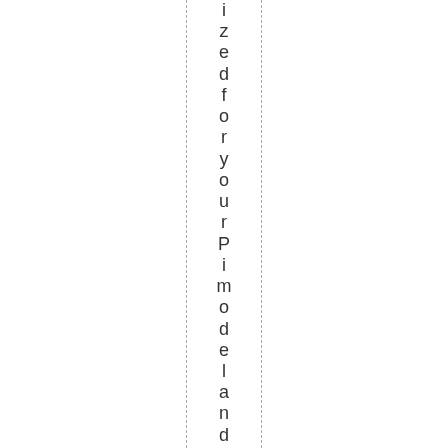izedfor yourPimodel and" readytor